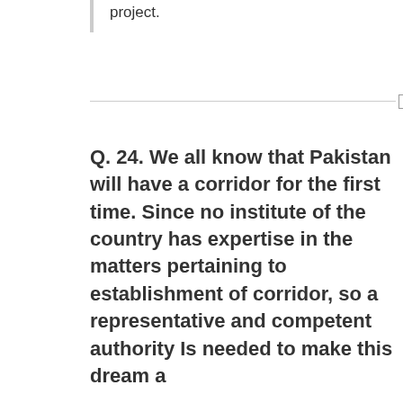project.
Q. 24. We all know that Pakistan will have a corridor for the first time. Since no institute of the country has expertise in the matters pertaining to establishment of corridor, so a representative and competent authority Is needed to make this dream a